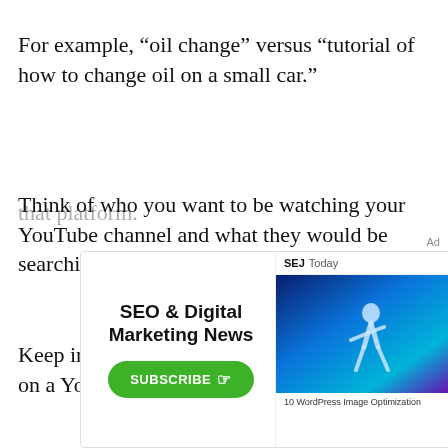For example, “oil change” versus “tutorial of how to change oil on a small car.”
Think of who you want to be watching your YouTube channel and what they would be searching for there.
Keep in mind that not everyone who ends up on a YouTube video started their journey on that platform.
[Figure (other): Advertisement overlay for SEJ Today newsletter: 'SEO & Digital Marketing News' with a green SUBSCRIBE button and a preview image of SEJ Today content showing a person in blue lighting.]